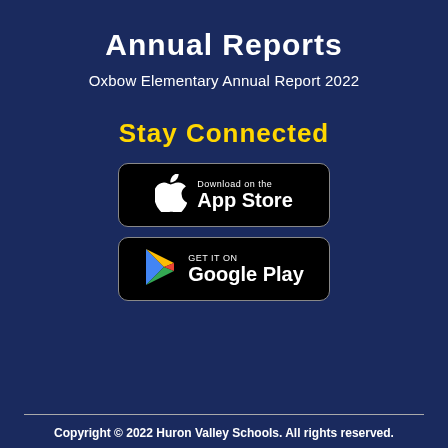Annual Reports
Oxbow Elementary Annual Report 2022
Stay Connected
[Figure (logo): Download on the App Store badge — black rounded rectangle with Apple logo and 'Download on the App Store' text]
[Figure (logo): Get it on Google Play badge — black rounded rectangle with Google Play triangle logo and 'GET IT ON Google Play' text]
Copyright © 2022 Huron Valley Schools. All rights reserved.